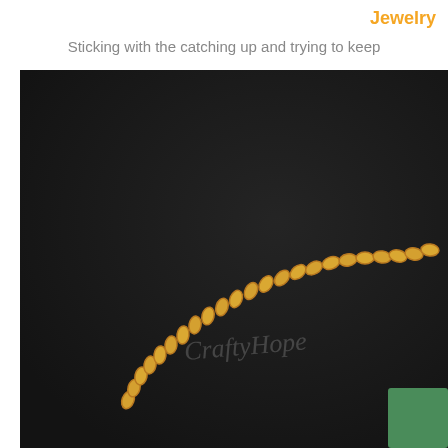Jewelry
Sticking with the catching up and trying to keep
[Figure (photo): Close-up photograph of a gold chain necklace laid on a dark black textured background, with a green jewelry piece partially visible in the bottom right corner. A watermark reading 'CraftyHope' is visible on the image.]